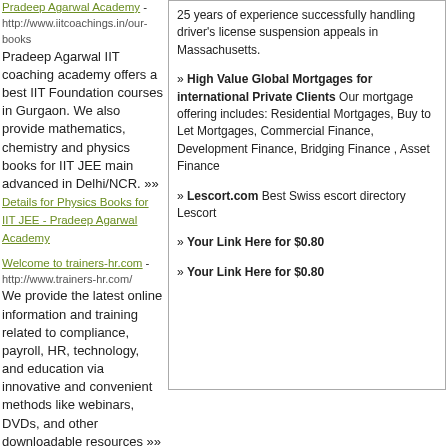Pradeep Agarwal Academy - http://www.iitcoachings.in/our-books Pradeep Agarwal IIT coaching academy offers a best IIT Foundation courses in Gurgaon. We also provide mathematics, chemistry and physics books for IIT JEE main advanced in Delhi/NCR. »» Details for Physics Books for IIT JEE - Pradeep Agarwal Academy
Welcome to trainers-hr.com - http://www.trainers-hr.com/ We provide the latest online information and training related to compliance, payroll, HR, technology, and education via innovative and convenient methods like webinars, DVDs, and other downloadable resources »» Details for Welcome to trainers-hr.com
welcome to hr-learn.com - http://www.hr-learn.com/ We are the world's top training providers. We partner with experts in their respective industry
25 years of experience successfully handling driver's license suspension appeals in Massachusetts.
» High Value Global Mortgages for international Private Clients Our mortgage offering includes: Residential Mortgages, Buy to Let Mortgages, Commercial Finance, Development Finance, Bridging Finance , Asset Finance
» Lescort.com Best Swiss escort directory Lescort
» Your Link Here for $0.80
» Your Link Here for $0.80